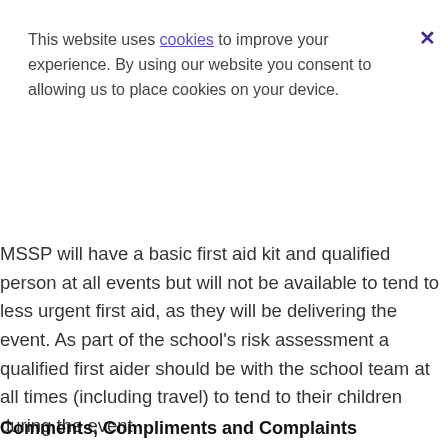This website uses cookies to improve your experience. By using our website you consent to allowing us to place cookies on your device.
MSSP will have a basic first aid kit and qualified person at all events but will not be available to tend to less urgent first aid, as they will be delivering the event. As part of the school's risk assessment a qualified first aider should be with the school team at all times (including travel) to tend to their children during the event.
Comments, Compliments and Complaints